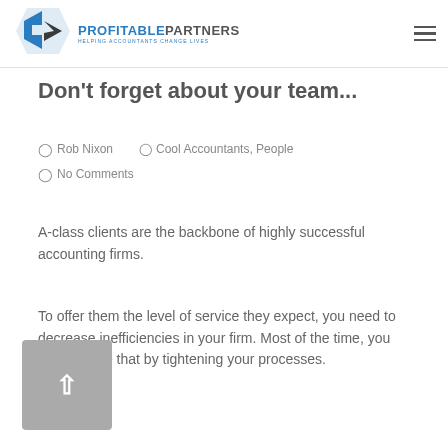PROFITABLEPARTNERS HELPING ACCOUNTANTS CHANGE LIVES
Don't forget about your team...
Rob Nixon   Cool Accountants, People
No Comments
A-class clients are the backbone of highly successful accounting firms.
To offer them the level of service they expect, you need to decrease inefficiencies in your firm. Most of the time, you can achieve that by tightening your processes.